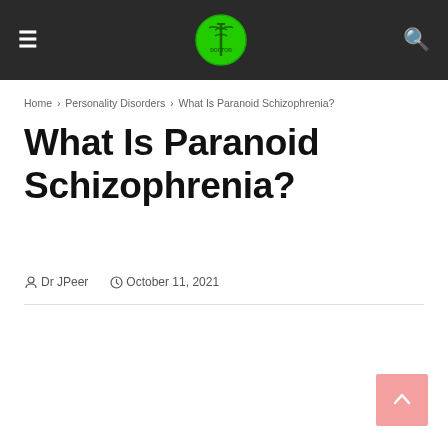≡  [logo]  🔍
Home › Personality Disorders › What Is Paranoid Schizophrenia?
What Is Paranoid Schizophrenia?
Dr JPeer   October 11, 2021